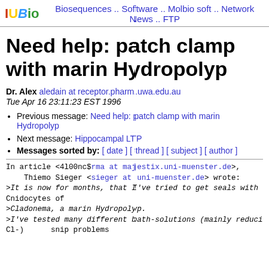IUBio  Biosequences .. Software .. Molbio soft .. Network News .. FTP
Need help: patch clamp with marin Hydropolyp
Dr. Alex aledain at receptor.pharm.uwa.edu.au
Tue Apr 16 23:11:23 EST 1996
Previous message: Need help: patch clamp with marin Hydropolyp
Next message: Hippocampal LTP
Messages sorted by: [ date ] [ thread ] [ subject ] [ author ]
In article <4l00nc$rma at majestix.uni-muenster.de>,
    Thiemo Sieger <sieger at uni-muenster.de> wrote:
>It is now for months, that I've tried to get seals with Cnidocytes of
>Cladonema, a marin Hydropolyp.
>I've tested many different bath-solutions (mainly reduci
Cl-)      snip problems